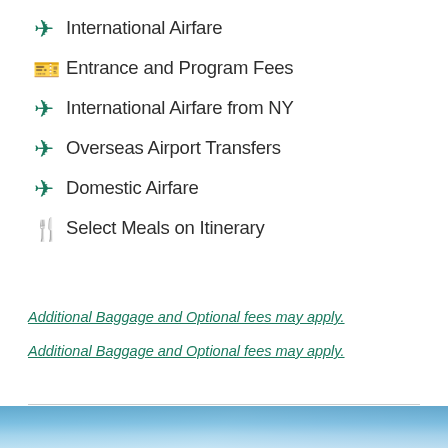International Airfare
Entrance and Program Fees
International Airfare from NY
Overseas Airport Transfers
Domestic Airfare
Select Meals on Itinerary
Additional Baggage and Optional fees may apply.
Additional Baggage and Optional fees may apply.
[Figure (photo): Aerial or landscape travel photo strip at bottom of page]